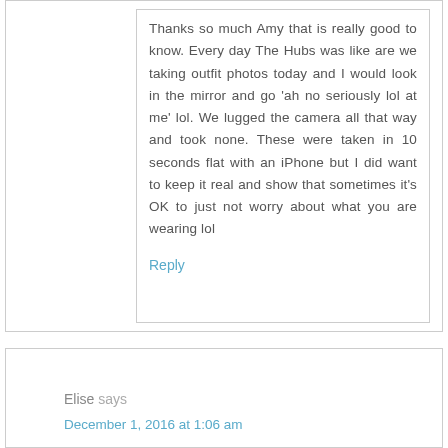Thanks so much Amy that is really good to know. Every day The Hubs was like are we taking outfit photos today and I would look in the mirror and go 'ah no seriously lol at me' lol. We lugged the camera all that way and took none. These were taken in 10 seconds flat with an iPhone but I did want to keep it real and show that sometimes it's OK to just not worry about what you are wearing lol
Reply
Elise says
December 1, 2016 at 1:06 am